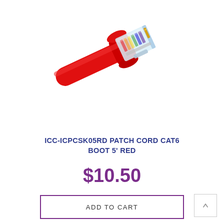[Figure (photo): A red Cat6 patch cord with a transparent RJ45 connector, showing the internal gold pins and a red strain relief boot, photographed at a diagonal angle against a white background.]
ICC-ICPCSK05RD PATCH CORD CAT6 BOOT 5' RED
$10.50
ADD TO CART